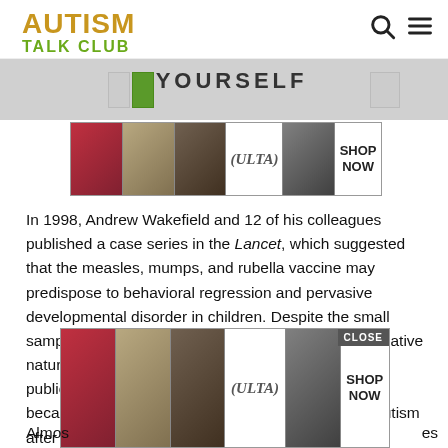AUTISM TALK CLUB
[Figure (photo): Partial view of a product banner with the word YOURSELF visible]
[Figure (photo): ULTA beauty advertisement banner with makeup images - SHOP NOW]
In 1998, Andrew Wakefield and 12 of his colleagues published a case series in the Lancet, which suggested that the measles, mumps, and rubella vaccine may predispose to behavioral regression and pervasive developmental disorder in children. Despite the small sample size , the uncontrolled design, and the speculative nature of the conclusions, the paper received wide publicity, and MMR vaccination rates began to drop because parents were concerned about the risk of autism after vaccin...
[Figure (photo): ULTA beauty advertisement banner with CLOSE button overlay and makeup images - SHOP NOW]
Almos...es